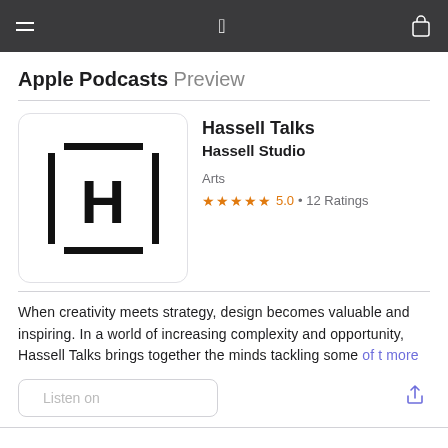Apple Podcasts Preview
Hassell Talks
Hassell Studio
Arts
★★★★★ 5.0 • 12 Ratings
When creativity meets strategy, design becomes valuable and inspiring. In a world of increasing complexity and opportunity, Hassell Talks brings together the minds tackling some of t more
Listen on